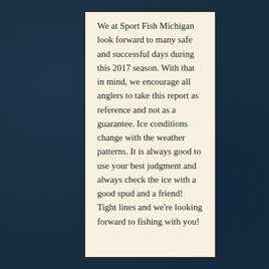We at Sport Fish Michigan look forward to many safe and successful days during this 2017 season. With that in mind, we encourage all anglers to take this report as reference and not as a guarantee. Ice conditions change with the weather patterns. It is always good to use your best judgment and always check the ice with a good spud and a friend! Tight lines and we're looking forward to fishing with you!